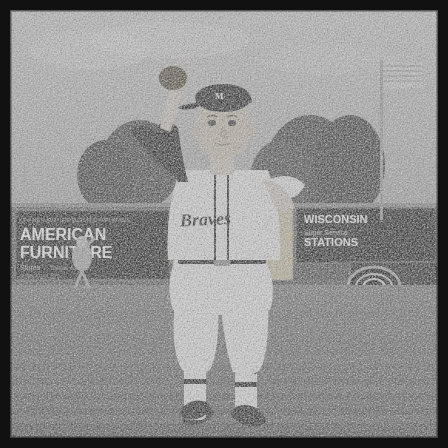[Figure (photo): Black and white photograph of a Milwaukee Braves baseball player in a white uniform with 'Braves' script on the chest and an 'M' on his cap, posed in a pitching wind-up stance on the outfield grass. Background shows outfield wall advertisements including 'American Furniture Stores', 'Joe Ali's', 'Wisconsin Super Service Stations', and 'Snirkle'. An American flag is visible on a pole, and another player is seen in the far left background.]